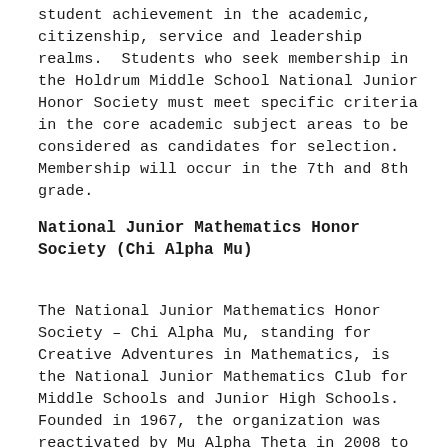student achievement in the academic, citizenship, service and leadership realms.  Students who seek membership in the Holdrum Middle School National Junior Honor Society must meet specific criteria in the core academic subject areas to be considered as candidates for selection.  Membership will occur in the 7th and 8th grade.
National Junior Mathematics Honor Society (Chi Alpha Mu)
The National Junior Mathematics Honor Society – Chi Alpha Mu, standing for Creative Adventures in Mathematics, is the National Junior Mathematics Club for Middle Schools and Junior High Schools. Founded in 1967, the organization was reactivated by Mu Alpha Theta in 2008 to promote enjoyment and understanding of mathematics by middle school students. Students who seek membership in the